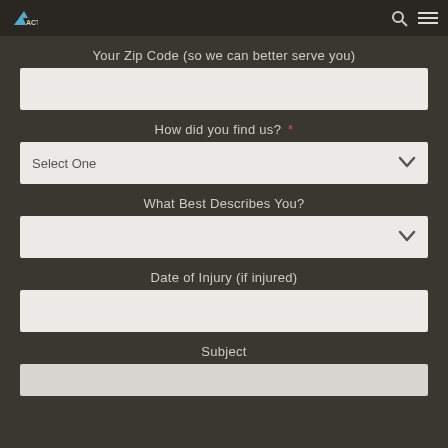ACT|HARDER (logo and navigation bar)
Your Zip Code (so we can better serve you)
How did you find us? *
Select One
What Best Describes You?
Date of Injury (if injured)
Subject